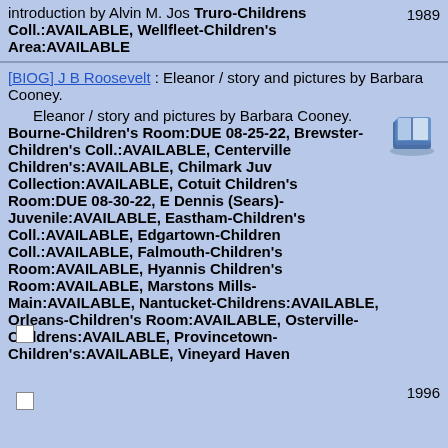introduction by Alvin M. Jos Truro-Childrens Coll.:AVAILABLE, Wellfleet-Children's Area:AVAILABLE 1989
[BIOG] J B Roosevelt : Eleanor / story and pictures by Barbara Cooney.
Eleanor / story and pictures by Barbara Cooney. Bourne-Children's Room:DUE 08-25-22, Brewster-Children's Coll.:AVAILABLE, Centerville Children's:AVAILABLE, Chilmark Juv Collection:AVAILABLE, Cotuit Children's Room:DUE 08-30-22, E Dennis (Sears)-Juvenile:AVAILABLE, Eastham-Children's Coll.:AVAILABLE, Edgartown-Children Coll.:AVAILABLE, Falmouth-Children's Room:AVAILABLE, Hyannis Children's Room:AVAILABLE, Marstons Mills-Main:AVAILABLE, Nantucket-Childrens:AVAILABLE, Orleans-Children's Room:AVAILABLE, Osterville-Childrens:AVAILABLE, Provincetown-Children's:AVAILABLE, Vineyard Haven 1996